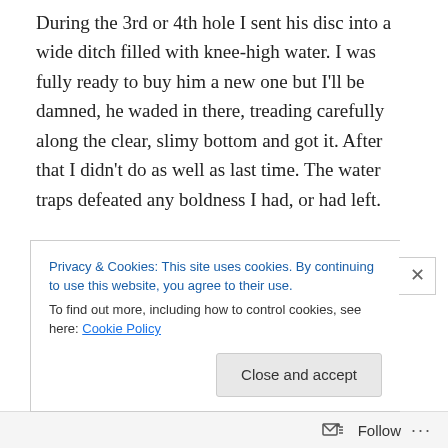During the 3rd or 4th hole I sent his disc into a wide ditch filled with knee-high water. I was fully ready to buy him a new one but I'll be damned, he waded in there, treading carefully along the clear, slimy bottom and got it. After that I didn't do as well as last time. The water traps defeated any boldness I had, or had left.
The breeze was cool but it was still a disgusting humid Florida morning. Before and after the water trap incident, Mac kept hitting me up for the J. As it's easy to out-argue a
Privacy & Cookies: This site uses cookies. By continuing to use this website, you agree to their use.
To find out more, including how to control cookies, see here: Cookie Policy
Close and accept
Follow ···